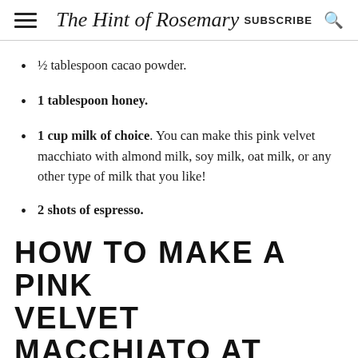The Hint of Rosemary — SUBSCRIBE
½ tablespoon cacao powder.
1 tablespoon honey.
1 cup milk of choice. You can make this pink velvet macchiato with almond milk, soy milk, oat milk, or any other type of milk that you like!
2 shots of espresso.
HOW TO MAKE A PINK VELVET MACCHIATO AT